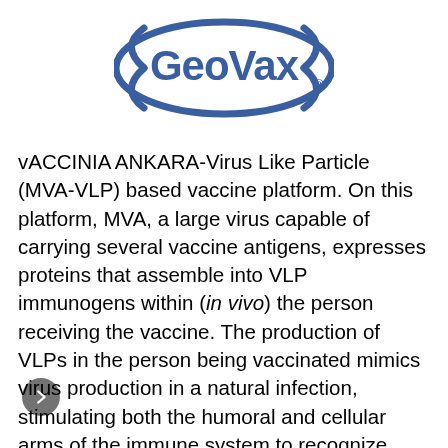[Figure (logo): GeoVax company logo — blue oval ellipse outline with 'GeoVax' text inside in blue, with a registered trademark symbol]
Vaccinia Ankara-Virus Like Particle (MVA-VLP) based vaccine platform. On this platform, MVA, a large virus capable of carrying several vaccine antigens, expresses proteins that assemble into VLP immunogens within (in vivo) the person receiving the vaccine. The production of VLPs in the person being vaccinated mimics virus production in a natural infection, stimulating both the humoral and cellular arms of the immune system to recognize, prevent, and control the target infection. The MVA-VLP derived vaccines elicit durable immune responses in the host similar to live-attenuated virus, while providing the safety characteristics of a replication...